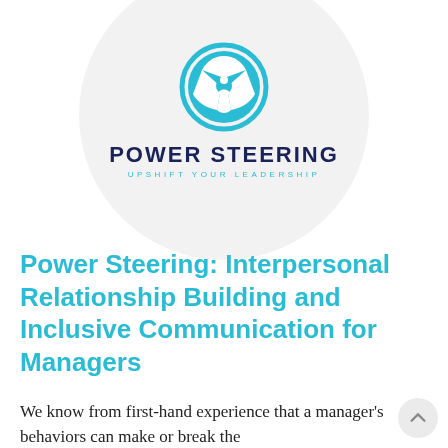[Figure (logo): Power Steering logo: a teal steering wheel icon inside a large light gray circle, with bold dark navy text 'POWER STEERING' and teal uppercase spaced tagline 'UPSHIFT YOUR LEADERSHIP']
Power Steering: Interpersonal Relationship Building and Inclusive Communication for Managers
We know from first-hand experience that a manager's behaviors can make or break the